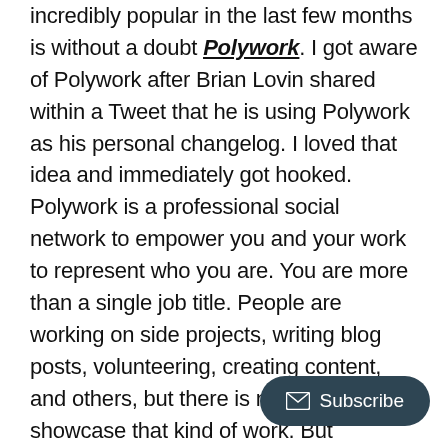incredibly popular in the last few months is without a doubt Polywork. I got aware of Polywork after Brian Lovin shared within a Tweet that he is using Polywork as his personal changelog. I loved that idea and immediately got hooked. Polywork is a professional social network to empower you and your work to represent who you are. You are more than a single job title. People are working on side projects, writing blog posts, volunteering, creating content, and others, but there is no real place to showcase that kind of work. But Polywork is exactly that place to express who you are. At Polywork you can tell your story, share it with others, and connect with others. This is what LinkedIn should have been. Poly[work is the right] place. If you want to become par[t of Polywork,] sign up for their waitlist right now. If you want to